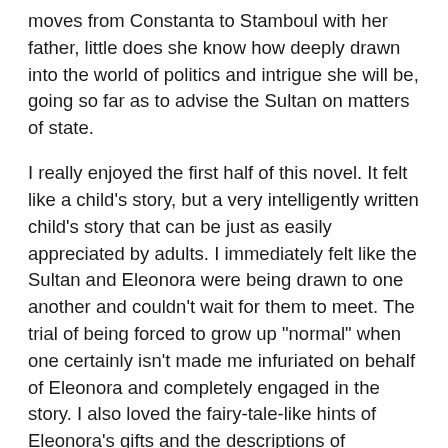moves from Constanta to Stamboul with her father, little does she know how deeply drawn into the world of politics and intrigue she will be, going so far as to advise the Sultan on matters of state.
I really enjoyed the first half of this novel. It felt like a child's story, but a very intelligently written child's story that can be just as easily appreciated by adults. I immediately felt like the Sultan and Eleonora were being drawn to one another and couldn't wait for them to meet. The trial of being forced to grow up "normal" when one certainly isn't made me infuriated on behalf of Eleonora and completely engaged in the story. I also loved the fairy-tale-like hints of Eleonora's gifts and the descriptions of Constanta. When Eleonora traveled to Stamboul, I was with her a hundred percent, even though I had to do a major suspension of disbelief to be so.
However, once the book passed mid-point, I felt like the editor gave up and the story lost some steam. Eleonora stopped behaving like a little girl, and it really threw me out of the story. Even stranger was the way adults treated her.